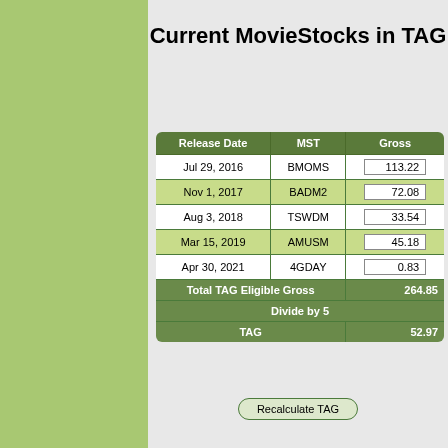Current MovieStocks in TAG
| Release Date | MST | Gross |
| --- | --- | --- |
| Jul 29, 2016 | BMOMS | 113.22 |
| Nov 1, 2017 | BADM2 | 72.08 |
| Aug 3, 2018 | TSWDM | 33.54 |
| Mar 15, 2019 | AMUSM | 45.18 |
| Apr 30, 2021 | 4GDAY | 0.83 |
| Total TAG Eligible Gross |  | 264.85 |
| Divide by 5 |  |  |
| TAG |  | 52.97 |